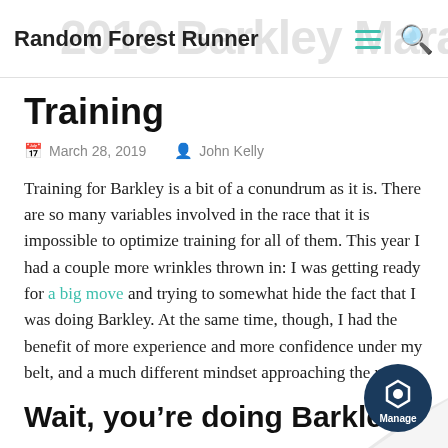Random Forest Runner
Training
March 28, 2019   John Kelly
Training for Barkley is a bit of a conundrum as it is. There are so many variables involved in the race that it is impossible to optimize training for all of them. This year I had a couple more wrinkles thrown in: I was getting ready for a big move and trying to somewhat hide the fact that I was doing Barkley. At the same time, though, I had the benefit of more experience and more confidence under my belt, and a much different mindset approaching the race.
Wait, you’re doing Barkle…